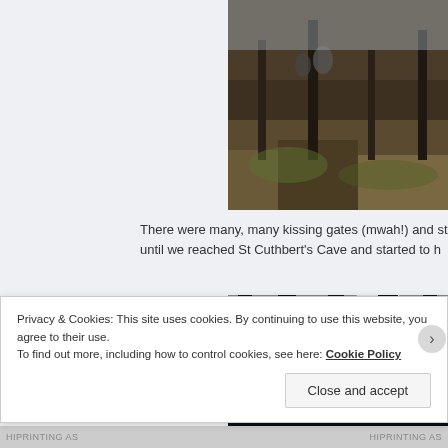[Figure (photo): Aerial or elevated view of a forest/woodland landscape with people visible on a path, earthy tones with green moss and bare trees]
There were many, many kissing gates (mwah!) and st until we reached St Cuthbert’s Cave and started to h
[Figure (photo): Looking up through tall pine trees with a vivid blue sky visible between the canopy]
Privacy & Cookies: This site uses cookies. By continuing to use this website, you agree to their use.
To find out more, including how to control cookies, see here: Cookie Policy
Close and accept